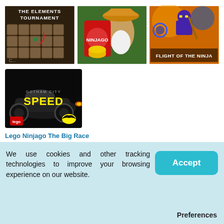[Figure (screenshot): Game thumbnail: The Elements Tournament - dark grid puzzle game]
[Figure (screenshot): Game thumbnail: Ninjago card game with elderly sensei character]
[Figure (screenshot): Game thumbnail: Flight of the Ninja - purple ninja character]
[Figure (screenshot): Game thumbnail: LEGO Batman Gotham City Speed - batmobile racing game]
Lego Ninjago The Big Race
We use cookies and other tracking technologies to improve your browsing experience on our website.
Accept
Preferences